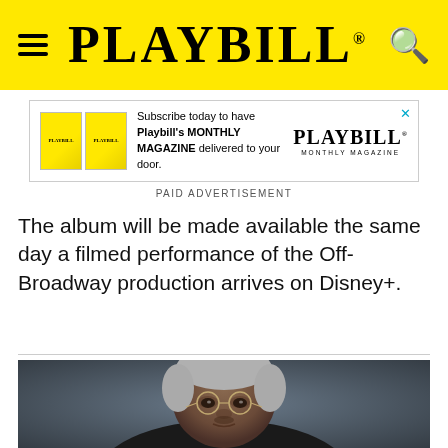PLAYBILL
[Figure (infographic): Playbill Monthly Magazine subscription advertisement banner with two magazine covers, text 'Subscribe today to have Playbill's MONTHLY MAGAZINE delivered to your door.' and Playbill Monthly Magazine logo]
PAID ADVERTISEMENT
The album will be made available the same day a filmed performance of the Off-Broadway production arrives on Disney+.
[Figure (photo): Portrait photograph of an elderly Black man with gray hair and round wire-rimmed glasses, wearing a dark suit, against a dark gray background]